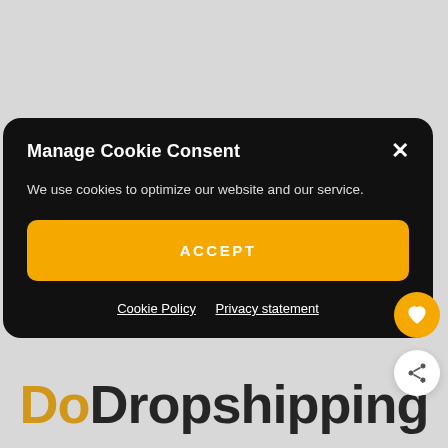[Figure (screenshot): DoDropshipping website background showing large 'D' letter and 'DoDropshipping' logo text with orange 'Do' and black 'Dropshipping']
Manage Cookie Consent
We use cookies to optimize our website and our service.
ACCEPT
Cookie Policy   Privacy statement